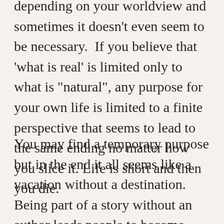depending on your worldview and sometimes it doesn't even seem to be necessary.  If you believe that 'what is real' is limited only to what is "natural", any purpose for your own life is limited to a finite perspective that seems to lead to the same ending no matter how you slice it. Life is short and then you die.
You may find a temporary purpose but in the end it all seems like a vacation without a destination.  Being part of a story without an author leads people to become authors